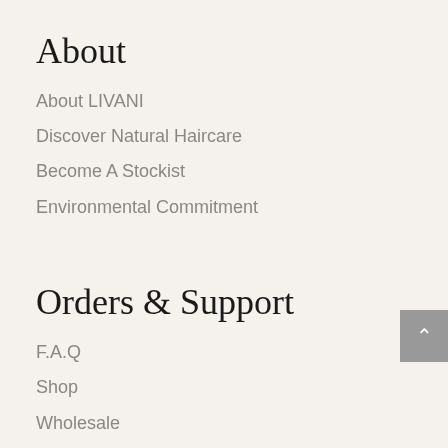About
About LIVANI
Discover Natural Haircare
Become A Stockist
Environmental Commitment
Orders & Support
F.A.Q
Shop
Wholesale
Contact Us
Terms & Conditions
Privacy Policy